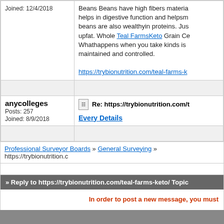Joined: 12/4/2018
Beans Beans have high fibers material helps in digestive function and helpsm beans are also wealthyin proteins. Just upfat. Whole Teal FarmsKeto Grain Ce Whathappens when you take kinds is maintained and controlled. https://trybionutrition.com/teal-farms-k
anycolleges
Posts: 257
Joined: 8/9/2018
Re: https://trybionutrition.com/t
Every Details
Professional Surveyor Boards » General Surveying » https://trybionutrition.c
» Reply to https://trybionutrition.com/teal-farms-keto/ Topic
In order to post a new message, you must